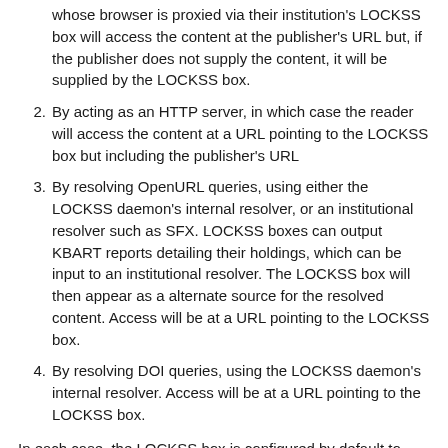whose browser is proxied via their institution's LOCKSS box will access the content at the publisher's URL but, if the publisher does not supply the content, it will be supplied by the LOCKSS box.
2. By acting as an HTTP server, in which case the reader will access the content at a URL pointing to the LOCKSS box but including the publisher's URL
3. By resolving OpenURL queries, using either the LOCKSS daemon's internal resolver, or an institutional resolver such as SFX. LOCKSS boxes can output KBART reports detailing their holdings, which can be input to an institutional resolver. The LOCKSS box will then appear as a alternate source for the resolved content. Access will be at a URL pointing to the LOCKSS box.
4. By resolving DOI queries, using the LOCKSS daemon's internal resolver. Access will be at a URL pointing to the LOCKSS box.
In each case, the LOCKSS box is configured by default to forward the request to the publisher's Web site and supply content only if the publisher does not.